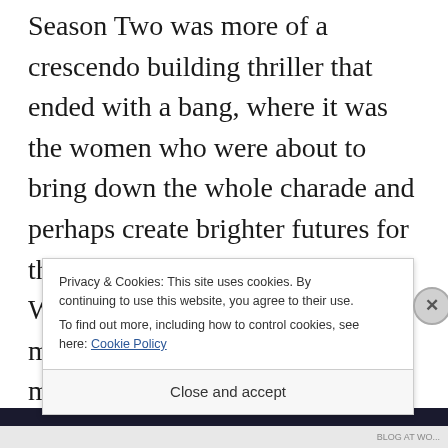Season Two was more of a crescendo building thriller that ended with a bang, where it was the women who were about to bring down the whole charade and perhaps create brighter futures for the sons of our slain anti-heroes.  Whereas the women were marginalized (brutalized and murdered whenever convenient or tossed aside) in Season One, Season Two ended with the women ruling the roost.  And while it missed the
Privacy & Cookies: This site uses cookies. By continuing to use this website, you agree to their use.
To find out more, including how to control cookies, see here: Cookie Policy
Close and accept